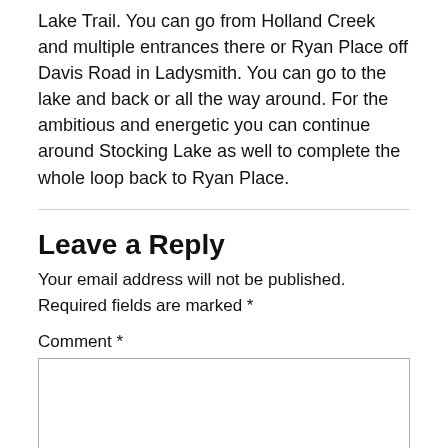Lake Trail. You can go from Holland Creek and multiple entrances there or Ryan Place off Davis Road in Ladysmith. You can go to the lake and back or all the way around. For the ambitious and energetic you can continue around Stocking Lake as well to complete the whole loop back to Ryan Place.
Leave a Reply
Your email address will not be published. Required fields are marked *
Comment *